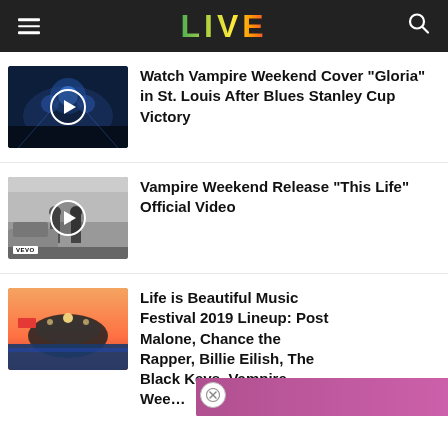LIVE
Watch Vampire Weekend Cover “Gloria” in St. Louis After Blues Stanley Cup Victory
Vampire Weekend Release “This Life” Official Video
Life is Beautiful Music Festival 2019 Lineup: Post Malone, Chance the Rapper, Billie Eilish, The Black Keys, Vampire Wee…